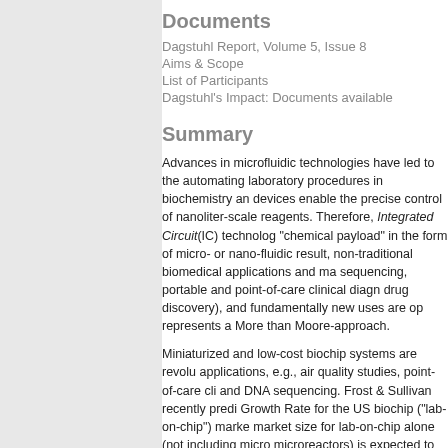Documents
Dagstuhl Report, Volume 5, Issue 8
Aims & Scope
List of Participants
Dagstuhl's Impact: Documents available
Summary
Advances in microfluidic technologies have led to the automating laboratory procedures in biochemistry and devices enable the precise control of nanoliter-scale reagents. Therefore, Integrated Circuit(IC) technologies "chemical payload" in the form of micro- or nano-fluidic result, non-traditional biomedical applications and many sequencing, portable and point-of-care clinical diagnostics drug discovery), and fundamentally new uses are opening represents a More than Moore-approach.
Miniaturized and low-cost biochip systems are revolutionizing applications, e.g., air quality studies, point-of-care clinical and DNA sequencing. Frost & Sullivan recently predicted a Growth Rate for the US biochip ("lab-on-chip") market size for lab-on-chip alone (not including microreactors) is expected to be over $1.6 billion in 2 in other parts of the world, especially Europe and Japan.